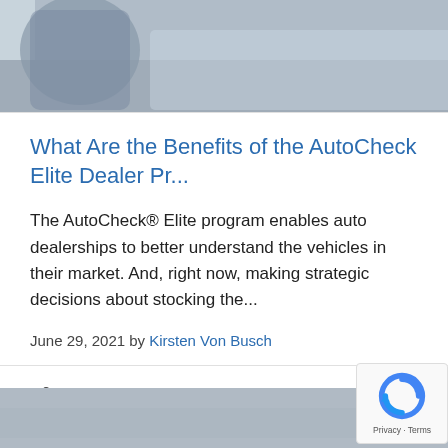[Figure (photo): Partial photo of a person near a car, cropped at the top of the page]
What Are the Benefits of the AutoCheck Elite Dealer Pr...
The AutoCheck® Elite program enables auto dealerships to better understand the vehicles in their market. And, right now, making strategic decisions about stocking the...
June 29, 2021 by Kirsten Von Busch
Share
Read More ›
[Figure (photo): Bottom partial image with gray gradient background, partially visible]
[Figure (logo): reCAPTCHA badge with logo and Privacy · Terms text]